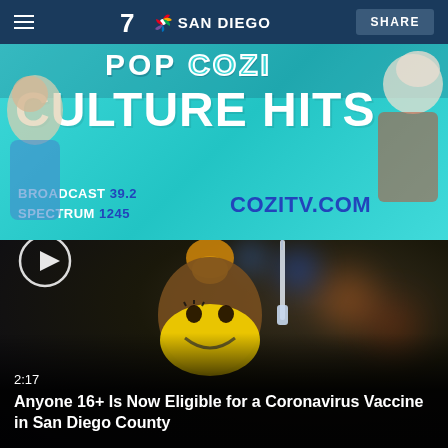7 NBC SAN DIEGO | SHARE
[Figure (advertisement): COZI TV advertisement banner with teal/cyan background. Text: 'POP COZI' at top, 'CULTURE HITS' large text, 'BROADCAST 39.2', 'SPECTRUM 1245', 'COZITV.COM'. Pop culture character illustrations on left and right sides.]
[Figure (photo): Video thumbnail: A woman wearing a yellow smiley-face mask and holding a vaccine syringe, looking up. Dark blurred background with bokeh lights. Play button circle overlay in lower-left. Timestamp '2:17'. Title: 'Anyone 16+ Is Now Eligible for a Coronavirus Vaccine in San Diego County']